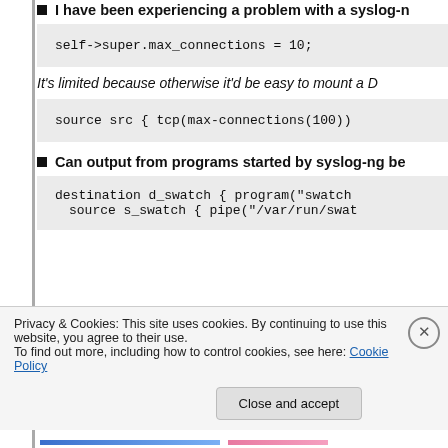I have been experiencing a problem with a syslog-n
self->super.max_connections = 10;
It's limited because otherwise it'd be easy to mount a D
source src { tcp(max-connections(100))
Can output from programs started by syslog-ng be
destination d_swatch { program("swatch
source s_swatch { pipe("/var/run/swat
Privacy & Cookies: This site uses cookies. By continuing to use this website, you agree to their use.
To find out more, including how to control cookies, see here: Cookie Policy
Close and accept